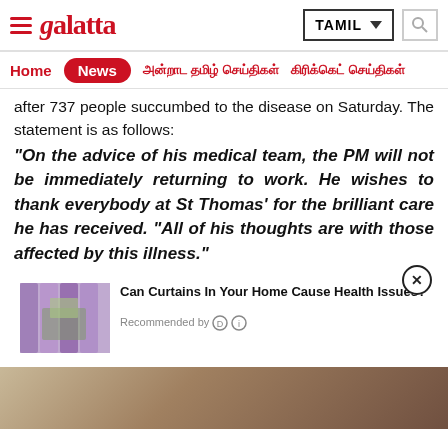galatta — TAMIL
Home | News | (Tamil navigation links)
after 737 people succumbed to the disease on Saturday. The statement is as follows:
"On the advice of his medical team, the PM will not be immediately returning to work. He wishes to thank everybody at St Thomas' for the brilliant care he has received. "All of his thoughts are with those affected by this illness."
[Figure (screenshot): Advertisement widget: image of curtains with text 'Can Curtains In Your Home Cause Health Issues?' and 'Recommended by' label]
[Figure (photo): Bottom strip showing partial photo, likely a person]